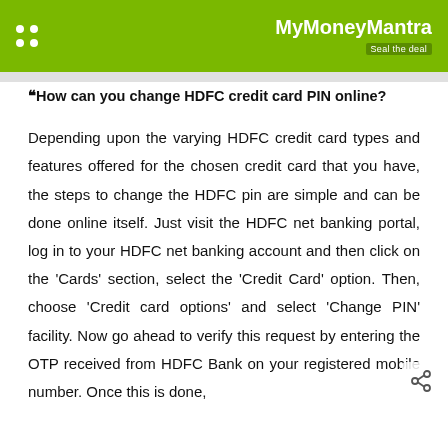MyMoneyMantra — Seal the deal
❝How can you change HDFC credit card PIN online?
Depending upon the varying HDFC credit card types and features offered for the chosen credit card that you have, the steps to change the HDFC pin are simple and can be done online itself. Just visit the HDFC net banking portal, log in to your HDFC net banking account and then click on the 'Cards' section, select the 'Credit Card' option. Then, choose 'Credit card options' and select 'Change PIN' facility. Now go ahead to verify this request by entering the OTP received from HDFC Bank on your registered mobile number. Once this is done,